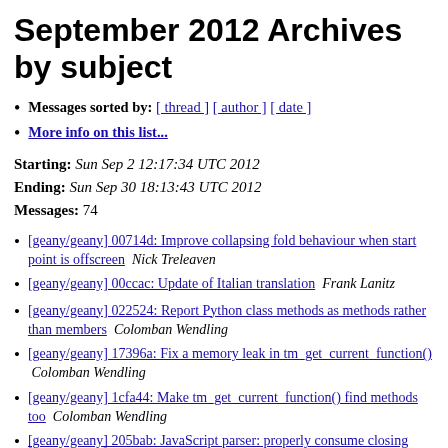September 2012 Archives by subject
Messages sorted by: [ thread ] [ author ] [ date ]
More info on this list...
Starting: Sun Sep 2 12:17:34 UTC 2012
Ending: Sun Sep 30 18:13:43 UTC 2012
Messages: 74
[geany/geany] 00714d: Improve collapsing fold behaviour when start point is offscreen   Nick Treleaven
[geany/geany] 00ccac: Update of Italian translation   Frank Lanitz
[geany/geany] 022524: Report Python class methods as methods rather than members   Colomban Wendling
[geany/geany] 17396a: Fix a memory leak in tm_get_current_function()   Colomban Wendling
[geany/geany] 1cfa44: Make tm_get_current_function() find methods too   Colomban Wendling
[geany/geany] 205bab: JavaScript parser: properly consume closing brace after a block in findCmdTerm()   Colomban Wendling